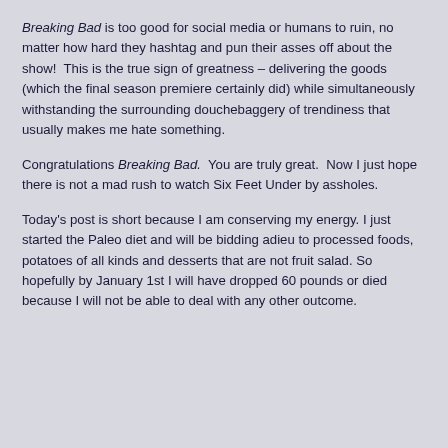Breaking Bad is too good for social media or humans to ruin, no matter how hard they hashtag and pun their asses off about the show!  This is the true sign of greatness – delivering the goods (which the final season premiere certainly did) while simultaneously withstanding the surrounding douchebaggery of trendiness that usually makes me hate something.
Congratulations Breaking Bad.  You are truly great.  Now I just hope there is not a mad rush to watch Six Feet Under by assholes.
Today's post is short because I am conserving my energy. I just started the Paleo diet and will be bidding adieu to processed foods, potatoes of all kinds and desserts that are not fruit salad. So hopefully by January 1st I will have dropped 60 pounds or died because I will not be able to deal with any other outcome.